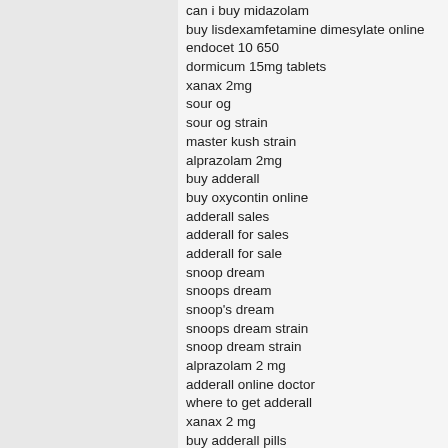can i buy midazolam
buy lisdexamfetamine dimesylate online
endocet 10 650
dormicum 15mg tablets
xanax 2mg
sour og
sour og strain
master kush strain
alprazolam 2mg
buy adderall
buy oxycontin online
adderall sales
adderall for sales
adderall for sale
snoop dream
snoops dream
snoop's dream
snoops dream strain
snoop dream strain
alprazolam 2 mg
adderall online doctor
where to get adderall
xanax 2 mg
buy adderall pills
hash online
Search Results
UPGRADE TO SEE 10,000 MORE KEYWORDS
7-Day Free Trial
buy xanax 2mg
Search Results